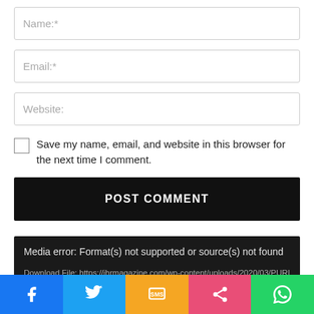Name:*
Email:*
Website:
Save my name, email, and website in this browser for the next time I comment.
POST COMMENT
Media error: Format(s) not supported or source(s) not found
Download File: https://ihrmagazine.com/wp-content/uploads/2020/03/PURICA-Medicinal-
[Figure (screenshot): Social share bar with Facebook, Twitter, SMS, Share, and WhatsApp buttons]